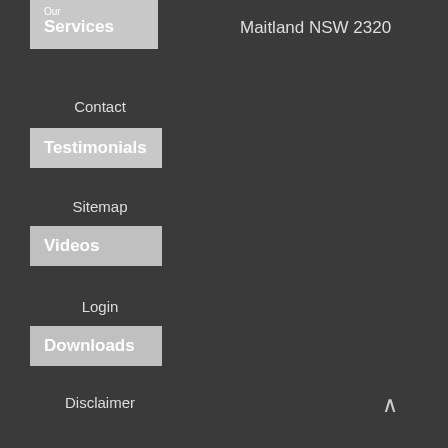Our Services
Maitland NSW 2320
Contact
Testimonials
Sitemap
Videos
Login
Downloads
Disclaimer
FOLLOW US
[Figure (infographic): Social media icons: Facebook, LinkedIn, YouTube, Instagram]
^